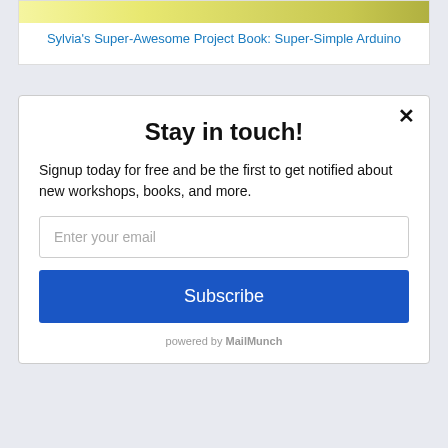[Figure (photo): Book cover image for Sylvia's Super-Awesome Project Book: Super-Simple Arduino, showing a person in a yellow outfit]
Sylvia's Super-Awesome Project Book: Super-Simple Arduino
Stay in touch!
Signup today for free and be the first to get notified about new workshops, books, and more.
Enter your email
Subscribe
powered by MailMunch